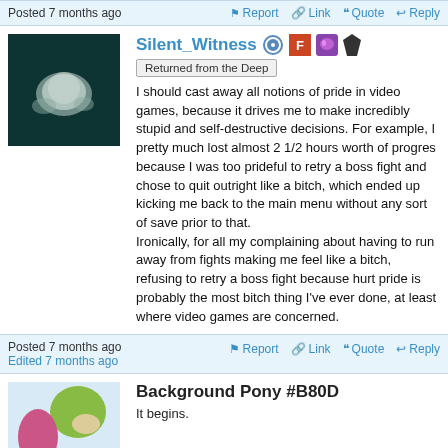Posted 7 months ago  Report  Link  Quote  Reply
Silent_Witness
Returned from the Deep
I should cast away all notions of pride in video games, because it drives me to make incredibly stupid and self-destructive decisions. For example, I pretty much lost almost 2 1/2 hours worth of progres because I was too prideful to retry a boss fight and chose to quit outright like a bitch, which ended up kicking me back to the main menu without any sort of save prior to that.
Ironically, for all my complaining about having to run away from fights making me feel like a bitch, refusing to retry a boss fight because hurt pride is probably the most bitch thing I've ever done, at least where video games are concerned.
Posted 7 months ago  Edited 7 months ago  Report  Link  Quote  Reply
Background Pony #B80D
It begins.